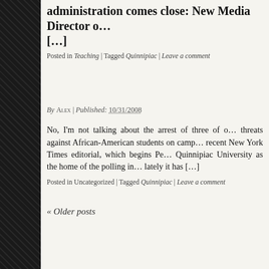administration comes close: New Media Director o… […]
Posted in Teaching | Tagged Quinnipiac | Leave a comment
By ALEX | Published: 10/31/2008
No, I'm not talking about the arrest of three of o… threats against African-American students on camp… recent New York Times editorial, which begins Pe… Quinnipiac University as the home of the polling in… lately it has […]
Posted in Uncategorized | Tagged Quinnipiac | Leave a comment
« Older posts